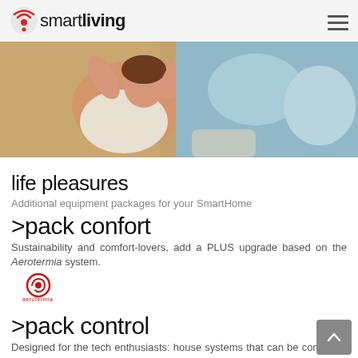smartliving
[Figure (photo): Woman relaxing in a wicker chair with blue cushions, smiling with hands behind head]
life pleasures
Additional equipment packages for your SmartHome
>pack confort
Sustainability and comfort-lovers, add a PLUS upgrade based on the Aerotermia system.
[Figure (logo): Aerotermia logo - red swirl icon with aerotermia text below]
>pack control
Designed for the tech enthusiasts: house systems that can be controlled remotely, depending on their utility, we have: SmartSYS. Simon100. Nest.
[Figure (logo): Three brand logos: SmartSYS, io, and nest]